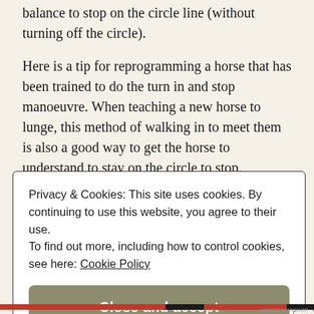balance to stop on the circle line (without turning off the circle).
Here is a tip for reprogramming a horse that has been trained to do the turn in and stop manoeuvre. When teaching a new horse to lunge, this method of walking in to meet them is also a good way to get the horse to understand to stay on the circle to stop.
Privacy & Cookies: This site uses cookies. By continuing to use this website, you agree to their use. To find out more, including how to control cookies, see here: Cookie Policy
Close and accept